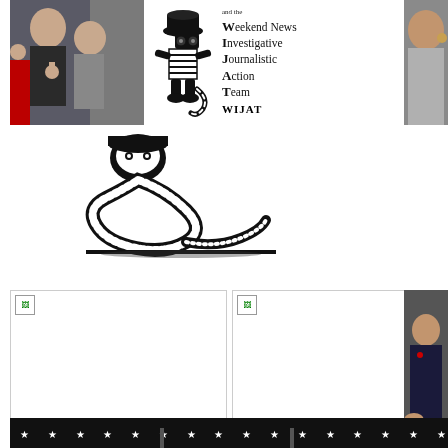[Figure (photo): Group photo with two women, one giving thumbs up]
[Figure (illustration): WIJAT cartoon mascot figure and logo text: Weekend News Investigative Journalistic Action Team WIJAT]
[Figure (photo): Cropped photo of a person on the right edge]
[Figure (illustration): Black and white illustration of a snake]
[Figure (photo): Broken image placeholder bottom left]
[Figure (photo): Broken image placeholder bottom middle]
[Figure (photo): Person clapping in suit on right edge]
[Figure (photo): Dark strip at very bottom with stars pattern]